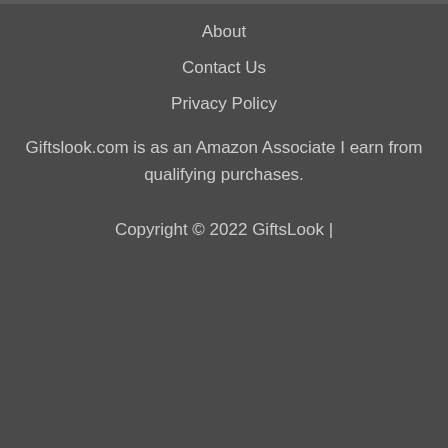About
Contact Us
Privacy Policy
Giftslook.com is as an Amazon Associate I earn from qualifying purchases.
Copyright © 2022 GiftsLook |